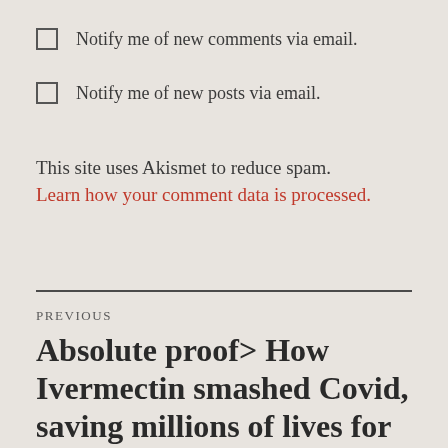Notify me of new comments via email.
Notify me of new posts via email.
This site uses Akismet to reduce spam. Learn how your comment data is processed.
PREVIOUS
Absolute proof> How Ivermectin smashed Covid, saving millions of lives for